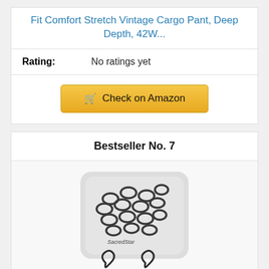Fit Comfort Stretch Vintage Cargo Pant, Deep Depth, 42W...
Rating: No ratings yet
Check on Amazon
Bestseller No. 7
[Figure (photo): A plastic bag containing many dark metal bulb-shaped safety pin bails, with two individual bails shown below the bag]
50 Easy to Use Bulb Shaped Safety Pin Bail